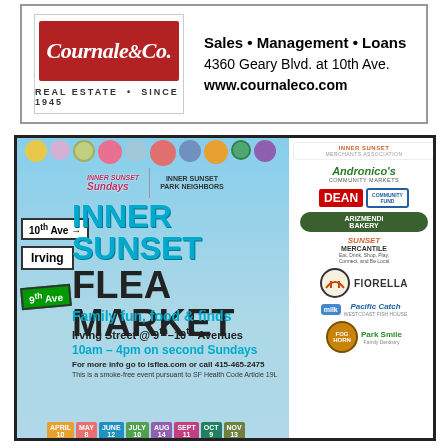[Figure (logo): Cournale & Co. Real Estate Since 1945 advertisement with logo and contact info: Sales, Management, Loans, 4360 Geary Blvd. at 10th Ave., www.cournaleco.com]
[Figure (infographic): Inner Sunset Flea Market event advertisement. Inner Sunset Sundays and Inner Sunset Park Neighbors logos. Text: INNER SUNSET FLEA MARKET, Family fun, food & finds, Irving Street @ 9th-10th Avenues, 10am-4pm on second Sundays. For more info go to isflea.com or call 415-465-2475. This is a smoke-free event pursuant to SF Health Code Article 19L. Dates: April 10, May 8, June 12, July 10, Aug 14, Sept 11, Oct 9, Nov 13. Sponsor logos on right side including Inner Sunset Merchants Association, Andronico's Community Markets, Dean, SFCEMA Community Fund, Arizmendi Bakery, Sunset Mercantile, Golden Gate Bridge logo, Fiorella, milk logo, Pacific Catch, Foghorn, Park Smile.]